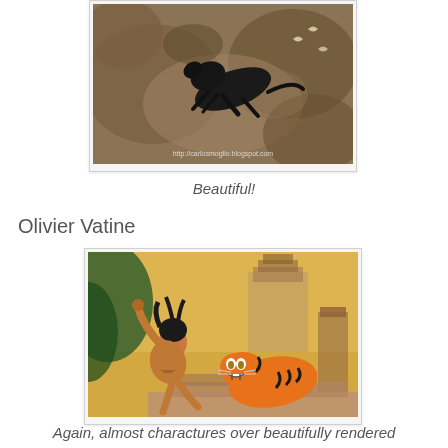[Figure (illustration): Illustration of a black panther leaping through a jungle scene with earth tones. Watermark reads http://carlosmoglio.blogspot.com]
Beautiful!
Olivier Vatine
[Figure (illustration): Illustration of a dark-haired boy (Mowgli) crouching and facing a snarling tiger in a jungle/ruins setting with golden/yellow background]
Again, almost charactures over beautifully rendered